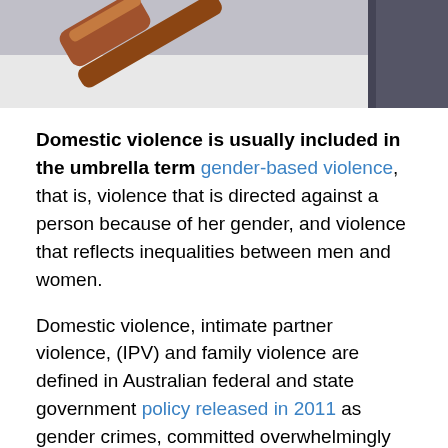[Figure (photo): Photo of a wooden gavel and what appears to be a law book or legal document in the background, cropped at the top of the page.]
Domestic violence is usually included in the umbrella term gender-based violence, that is, violence that is directed against a person because of her gender, and violence that reflects inequalities between men and women.
Domestic violence, intimate partner violence, (IPV) and family violence are defined in Australian federal and state government policy released in 2011 as gender crimes, committed overwhelmingly by men against women and their children.
As the majority of domestic arrangements in our culture